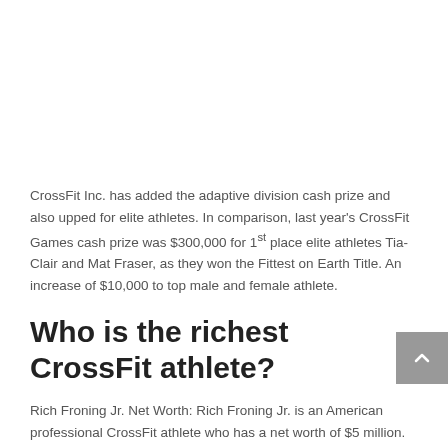CrossFit Inc. has added the adaptive division cash prize and also upped for elite athletes. In comparison, last year's CrossFit Games cash prize was $300,000 for 1st place elite athletes Tia-Clair and Mat Fraser, as they won the Fittest on Earth Title. An increase of $10,000 to top male and female athlete.
Who is the richest CrossFit athlete?
Rich Froning Jr. Net Worth: Rich Froning Jr. is an American professional CrossFit athlete who has a net worth of $5 million. Froning Jr. was born in Mount Clemens, Michigan in July 1987.